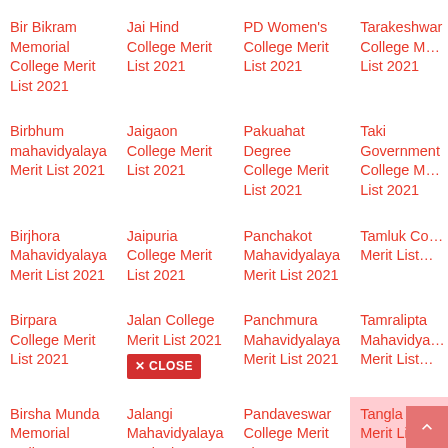Bir Bikram Memorial College Merit List 2021
Jai Hind College Merit List 2021
PD Women's College Merit List 2021
Tarakeshwar College Merit List 2021
Birbhum mahavidyalaya Merit List 2021
Jaigaon College Merit List 2021
Pakuahat Degree College Merit List 2021
Taki Government College Merit List 2021
Birjhora Mahavidyalaya Merit List 2021
Jaipuria College Merit List 2021
Panchakot Mahavidyalaya Merit List 2021
Tamluk College Merit List 2021
Birpara College Merit List 2021
Jalan College Merit List 2021
Panchmura Mahavidyalaya Merit List 2021
Tamralipta Mahavidyalaya Merit List 2021
Birsha Munda Memorial College Merit List 2021
Jalangi Mahavidyalaya Merit List 2021
Pandaveswar College Merit List 2021
Tangla College Merit List 2021